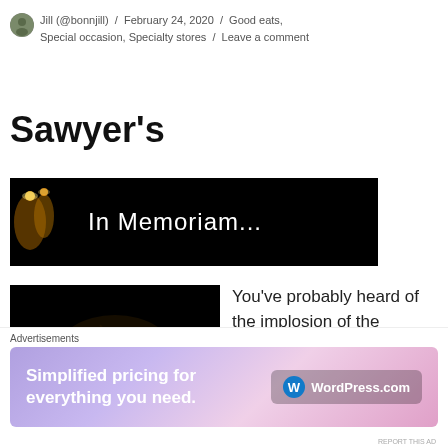Jill (@bonnjill) / February 24, 2020 / Good eats, Special occasion, Specialty stores / Leave a comment
Sawyer's
[Figure (photo): Black banner image with candles on left side and white text reading 'In Memoriam...' on black background]
[Figure (photo): Dark/black photograph, content not clearly visible]
You've probably heard of the implosion of the Sawyer brand. I
Advertisements
[Figure (screenshot): WordPress.com advertisement banner with gradient purple/pink background. Text: 'Simplified pricing for everything you need.' with WordPress.com logo and branding on right side.]